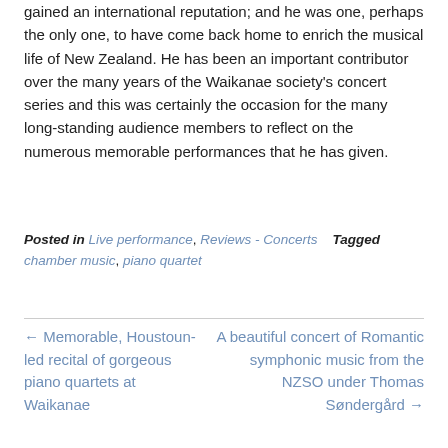gained an international reputation; and he was one, perhaps the only one, to have come back home to enrich the musical life of New Zealand. He has been an important contributor over the many years of the Waikanae society's concert series and this was certainly the occasion for the many long-standing audience members to reflect on the numerous memorable performances that he has given.
Posted in Live performance, Reviews - Concerts   Tagged chamber music, piano quartet
← Memorable, Houstoun-led recital of gorgeous piano quartets at Waikanae
A beautiful concert of Romantic symphonic music from the NZSO under Thomas Søndergård →